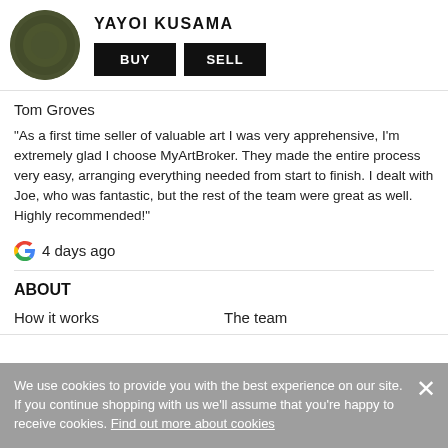[Figure (illustration): Circular thumbnail of a dark olive/green textured artwork, with artist name YAYOI KUSAMA in bold uppercase beside it, and two black buttons labeled BUY and SELL]
Tom Groves
“As a first time seller of valuable art I was very apprehensive, I’m extremely glad I choose MyArtBroker. They made the entire process very easy, arranging everything needed from start to finish. I dealt with Joe, who was fantastic, but the rest of the team were great as well. Highly recommended!”
G 4 days ago
ABOUT
How it works
The team
We use cookies to provide you with the best experience on our site. If you continue shopping with us we’ll assume that you’re happy to receive cookies. Find out more about cookies